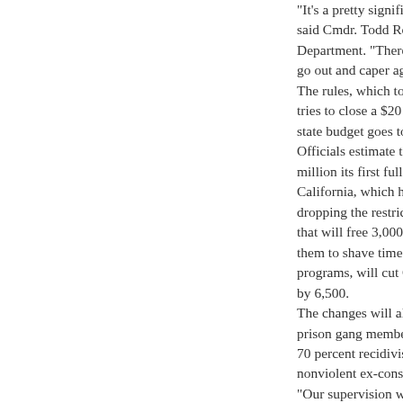"It's a pretty significant con... said Cmdr. Todd Rogers of ... Department. "There's a real... go out and caper again." The rules, which took effec... tries to close a $20 billion b... state budget goes to prisons... Officials estimate the meas... million its first full year. California, which has the na... dropping the restrictions, co... that will free 3,000 current i... them to shave time for comp... programs, will cut Californi... by 6,500. The changes will also free u... prison gang members, sex o... 70 percent recidivism rate is... nonviolent ex-cons. "Our supervision will be hig... said California Corrections
AT 8:19 AM  NO COM... SHARE
Watchdog propose...